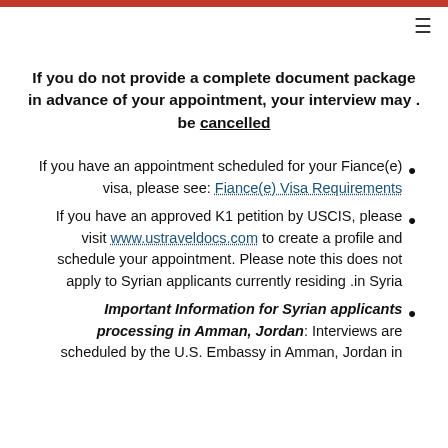If you do not provide a complete document package in advance of your appointment, your interview may be cancelled.
If you have an appointment scheduled for your Fiance(e) visa, please see: Fiance(e) Visa Requirements
If you have an approved K1 petition by USCIS, please visit www.ustraveldocs.com to create a profile and schedule your appointment. Please note this does not apply to Syrian applicants currently residing in Syria.
Important Information for Syrian applicants processing in Amman, Jordan: Interviews are scheduled by the U.S. Embassy in Amman, Jordan in...